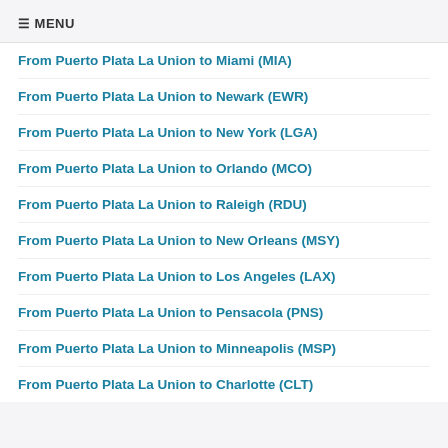≡ MENU
From Puerto Plata La Union to Miami (MIA)
From Puerto Plata La Union to Newark (EWR)
From Puerto Plata La Union to New York (LGA)
From Puerto Plata La Union to Orlando (MCO)
From Puerto Plata La Union to Raleigh (RDU)
From Puerto Plata La Union to New Orleans (MSY)
From Puerto Plata La Union to Los Angeles (LAX)
From Puerto Plata La Union to Pensacola (PNS)
From Puerto Plata La Union to Minneapolis (MSP)
From Puerto Plata La Union to Charlotte (CLT)